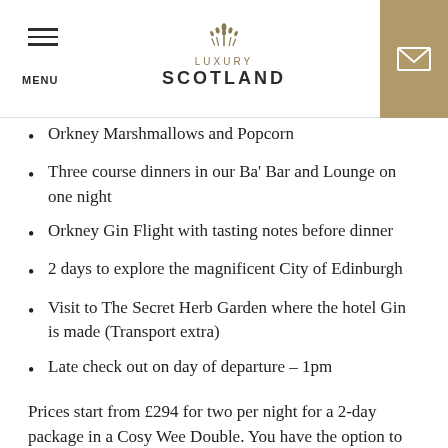MENU | LUXURY SCOTLAND
Orkney Marshmallows and Popcorn
Three course dinners in our Ba' Bar and Lounge on one night
Orkney Gin Flight with tasting notes before dinner
2 days to explore the magnificent City of Edinburgh
Visit to The Secret Herb Garden where the hotel Gin is made (Transport extra)
Late check out on day of departure – 1pm
Prices start from £294 for two per night for a 2-day package in a Cosy Wee Double. You have the option to upgrade for a supplement to a Luxury King Rooms or Orkney Suites.
The Sheraton Grand in Edinburgh also has its own One